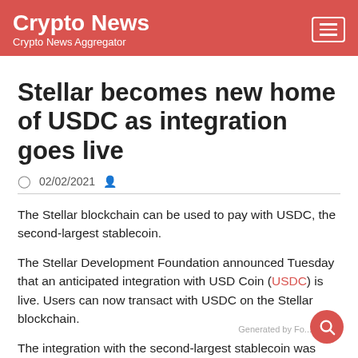Crypto News — Crypto News Aggregator
Stellar becomes new home of USDC as integration goes live
02/02/2021
The Stellar blockchain can be used to pay with USDC, the second-largest stablecoin.
The Stellar Development Foundation announced Tuesday that an anticipated integration with USD Coin (USDC) is live. Users can now transact with USDC on the Stellar blockchain.
The integration with the second-largest stablecoin was initially announced in October 2020, as Cointelegraph reported at the time. The stablecoin is now on blockchain to...